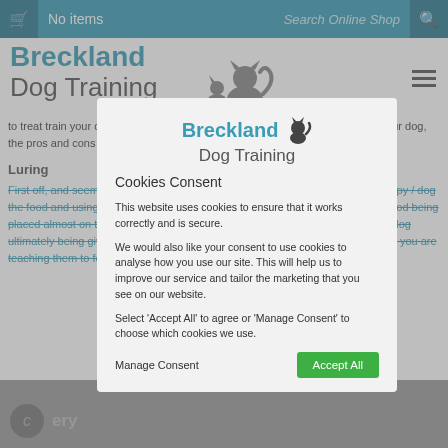No items | Search Online Shop
Breckland Dog Training
to treat train your dog, so let's look at the 3 ways in which you can treat train your dog, the pros and cons that go with those methods.
Luring
First off, and seemingly the most popular is 'Luring' the act of showing your puppy / dog the food and using it to move or entice them to do something, like sit, with the food being placed almost on the nose of the dog and 'luring' the dog into position, with the dog ultimately being given the food for complying. You are not actually training them, you are teaching them to follow the lure / food, and at some stage they will be given it.
[Figure (other): Cookies Consent modal overlay dialog box with Breckland Dog Training logo, cookie consent text, Manage Consent and Accept All buttons]
©  ery